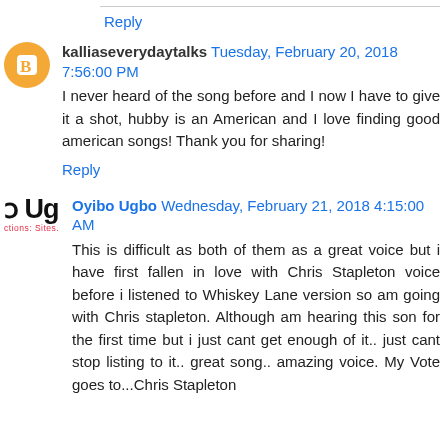Reply
kalliaseverydaytalks  Tuesday, February 20, 2018 7:56:00 PM
I never heard of the song before and I now I have to give it a shot, hubby is an American and I love finding good american songs! Thank you for sharing!
Reply
Oyibo Ugbo  Wednesday, February 21, 2018 4:15:00 AM
This is difficult as both of them as a great voice but i have first fallen in love with Chris Stapleton voice before i listened to Whiskey Lane version so am going with Chris stapleton. Although am hearing this son for the first time but i just cant get enough of it.. just cant stop listing to it.. great song.. amazing voice. My Vote goes to...Chris Stapleton